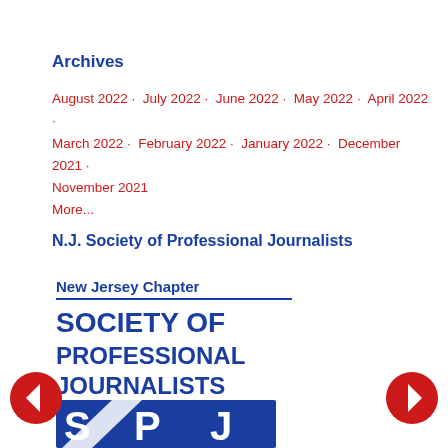Archives
August 2022 · July 2022 · June 2022 · May 2022 · April 2022 · March 2022 · February 2022 · January 2022 · December 2021 · November 2021
More...
N.J. Society of Professional Journalists
[Figure (logo): New Jersey Chapter Society of Professional Journalists logo with large SPJ letters on a blue background with a diagonal white stripe]